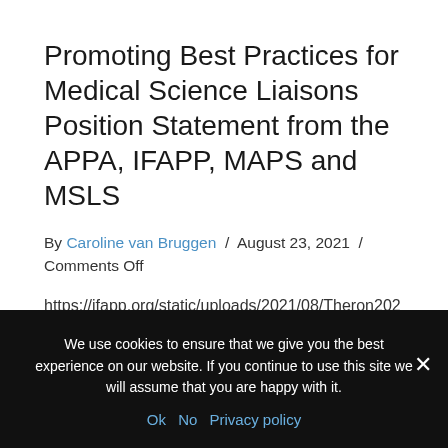Promoting Best Practices for Medical Science Liaisons Position Statement from the APPA, IFAPP, MAPS and MSLS
By Caroline van Bruggen / August 23, 2021 / Comments Off
https://ifapp.org/static/uploads/2021/08/Theron2021_Article_PromotingBestPracticesForMedic.pdf
Read More
We use cookies to ensure that we give you the best experience on our website. If you continue to use this site we will assume that you are happy with it.
Ok  No  Privacy policy